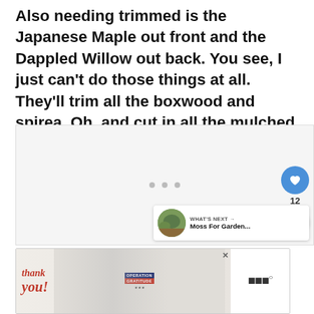Also needing trimmed is the Japanese Maple out front and the Dappled Willow out back. You see, I just can't do those things at all. They'll trim all the boxwood and spirea. Oh, and cut in all the mulched beds.
[Figure (screenshot): Web page content area with loading dots and social media interaction buttons (like heart button showing 12 likes, share button). Also shows a 'WHAT'S NEXT' card with thumbnail for 'Moss For Garden...']
[Figure (photo): Advertisement banner: 'Thank you!' with Operation Gratitude logo showing firefighters. Close button visible.]